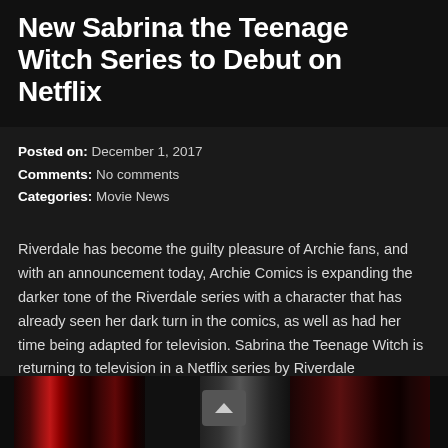New Sabrina the Teenage Witch Series to Debut on Netflix
Posted on: December 1, 2017
Comments: No comments
Categories: Movie News
Riverdale has become the guilty pleasure of Archie fans, and with an announcement today, Archie Comics is expanding the darker tone of the Riverdale series with a character that has already seen her dark turn in the comics, as well as had her time being adapted for television. Sabrina the Teenage Witch is returning to television in a Netflix series by Riverdale showrunner, Roberto Aguirre-Sacasa. No cast decisions or expected release date have been named yet.
[Figure (photo): Partial view of an image strip at the bottom of the page showing dark red and black tones, likely related to the Sabrina the Teenage Witch series. A scroll-up button is visible in the center.]